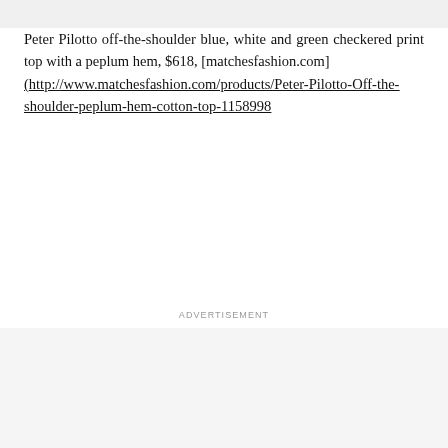Peter Pilotto off-the-shoulder blue, white and green checkered print top with a peplum hem, $618, [matchesfashion.com] (http://www.matchesfashion.com/products/Peter-Pilotto-Off-the-shoulder-peplum-hem-cotton-top-1158998
ADVERTISEMENT